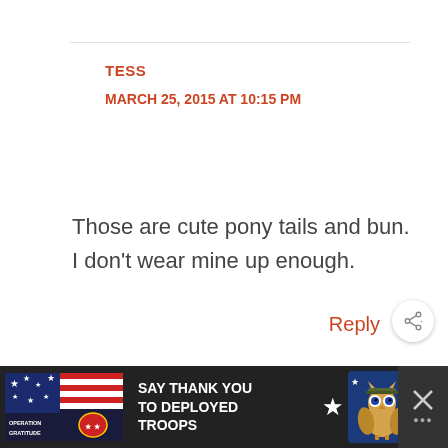TESS
MARCH 25, 2015 AT 10:15 PM
Those are cute pony tails and bun. I don't wear mine up enough.
Reply
[Figure (screenshot): Advertisement banner: Operation Gratitude - SAY THANK YOU TO DEPLOYED TROOPS with owl mascot and close button]
[Figure (other): Share/social button icon (circle with share arrows and plus sign)]